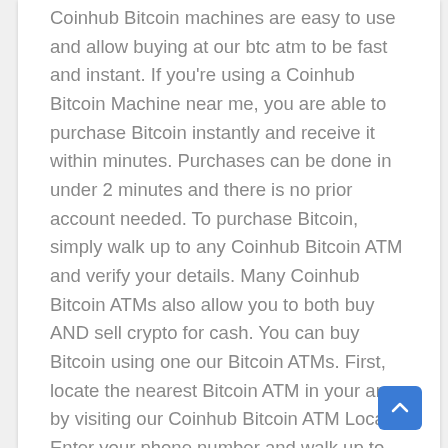Coinhub Bitcoin machines are easy to use and allow buying at our btc atm to be fast and instant. If you're using a Coinhub Bitcoin Machine near me, you are able to purchase Bitcoin instantly and receive it within minutes. Purchases can be done in under 2 minutes and there is no prior account needed. To purchase Bitcoin, simply walk up to any Coinhub Bitcoin ATM and verify your details. Many Coinhub Bitcoin ATMs also allow you to both buy AND sell crypto for cash. You can buy Bitcoin using one our Bitcoin ATMs. First, locate the nearest Bitcoin ATM in your area by visiting our Coinhub Bitcoin ATM Locator. Enter your phone number and walk up to the machine. The machine will verify your phone using a code and scan the bitcoin wallet. Enter each bill one at a time to determine the amount you wish to purchase. After that, confirm the purchase by entering the bitcoin atm. Bitcoin is then instantly sent to your wallet. The daily buying limit is